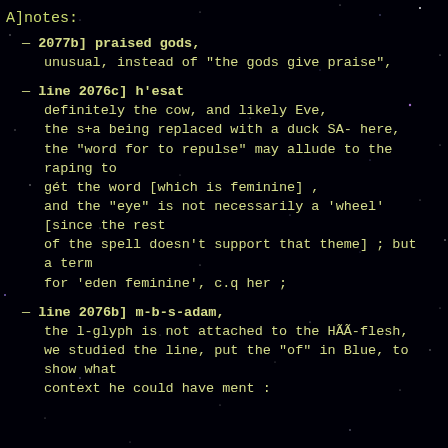A]notes:
— 2077b] praised gods,
unusual, instead of "the gods give praise",
— line 2076c] h'esat
definitely the cow, and likely Eve,
the s+a being replaced with a duck SA- here,
the "word for to repulse" may allude to the
raping to
gét the word [which is feminine] ,
and the "eye" is not necessarily a 'wheel'
[since the rest
of the spell doesn't support that theme] ; but
a term
for 'eden feminine', c.q her ;
— line 2076b] m-b-s-adam,
the l-glyph is not attached to the HÃÃ-flesh,
we studied the line, put the "of" in Blue, to
show what
context he could have ment :